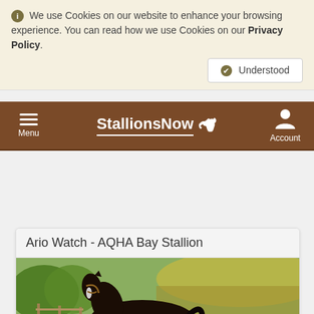ℹ We use Cookies on our website to enhance your browsing experience. You can read how we use Cookies on our Privacy Policy.
✔ Understood
StallionsNow 🐴  Menu  Account
Ario Watch - AQHA Bay Stallion
[Figure (photo): A dark bay horse standing in a field with green trees and a wooden fence in the background]